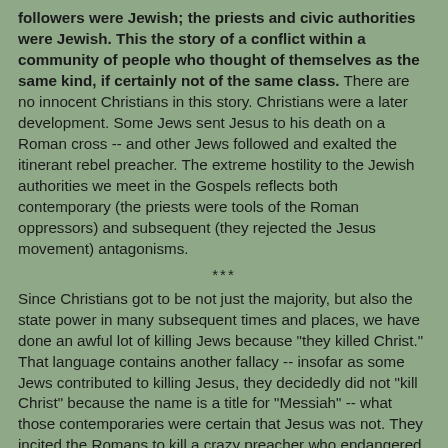followers were Jewish; the priests and civic authorities were Jewish. This the story of a conflict within a community of people who thought of themselves as the same kind, if certainly not of the same class. There are no innocent Christians in this story. Christians were a later development. Some Jews sent Jesus to his death on a Roman cross -- and other Jews followed and exalted the itinerant rebel preacher. The extreme hostility to the Jewish authorities we meet in the Gospels reflects both contemporary (the priests were tools of the Roman oppressors) and subsequent (they rejected the Jesus movement) antagonisms.
***
Since Christians got to be not just the majority, but also the state power in many subsequent times and places, we have done an awful lot of killing Jews because "they killed Christ." That language contains another fallacy -- insofar as some Jews contributed to killing Jesus, they decidedly did not "kill Christ" because the name is a title for "Messiah" -- what those contemporaries were certain that Jesus was not. They incited the Romans to kill a crazy preacher who endangered their status.